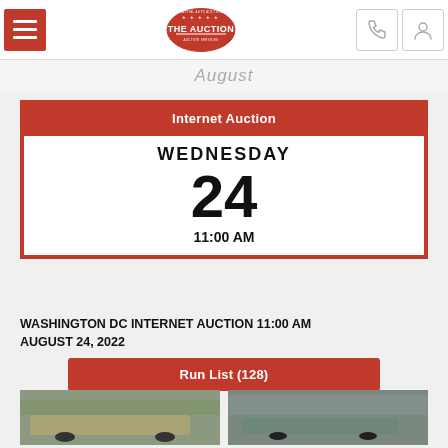The Auction — Capital Auto Auction (header with menu, logo, phone and user icons)
August
Internet Auction
WEDNESDAY 24 11:00 AM
WASHINGTON DC INTERNET AUCTION 11:00 AM AUGUST 24, 2022
Run List (128)
[Figure (photo): Photo of a gold/tan GMC pickup truck in a parking lot]
[Figure (photo): Photo of a silver/gray sedan in a parking lot]
[Figure (photo): Partially visible car photo at bottom left]
[Figure (photo): Partially visible car photo at bottom right]